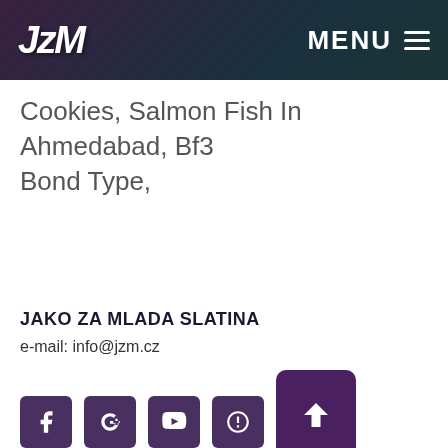JzM   MENU ≡
Cookies, Salmon Fish In Ahmedabad, Bf3 Bond Type,
JAKO ZA MLADA SLATINA
e-mail: info@jzm.cz
[Figure (other): Social media icons row: Facebook, Google+, YouTube, another icon, and a back-to-top arrow button in dark purple]